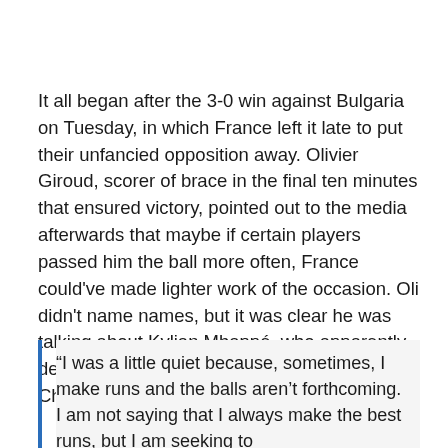It all began after the 3-0 win against Bulgaria on Tuesday, in which France left it late to put their unfancied opposition away. Olivier Giroud, scorer of brace in the final ten minutes that ensured victory, pointed out to the media afterwards that maybe if certain players passed him the ball more often, France could've made lighter work of the occasion. Oli didn't name names, but it was clear he was talking about Kylian Mbappé, who apparently developed an allergy to giving the ball to the Chelsea striker.
“I was a little quiet because, sometimes, I make runs and the balls aren’t forthcoming. I am not saying that I always make the best runs, but I am seeking to